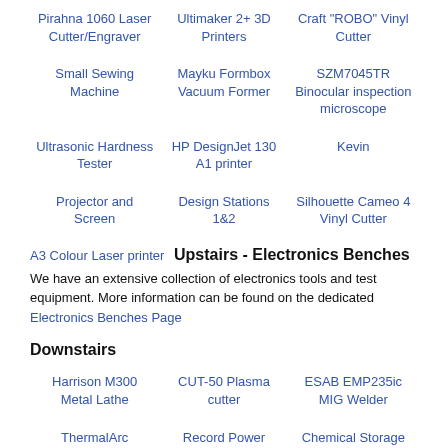Pirahna 1060 Laser Cutter/Engraver
Ultimaker 2+ 3D Printers
Craft "ROBO" Vinyl Cutter
Small Sewing Machine
Mayku Formbox Vacuum Former
SZM7045TR Binocular inspection microscope
Ultrasonic Hardness Tester
HP DesignJet 130 A1 printer
Kevin
Projector and Screen
Design Stations 1&2
Silhouette Cameo 4 Vinyl Cutter
A3 Colour Laser printer
Upstairs - Electronics Benches
We have an extensive collection of electronics tools and test equipment. More information can be found on the dedicated Electronics Benches Page
Downstairs
Harrison M300 Metal Lathe
CUT-50 Plasma cutter
ESAB EMP235ic MIG Welder
ThermalArc 202AC/DC TIG
Record Power Coronet Wood Lathe
Chemical Storage